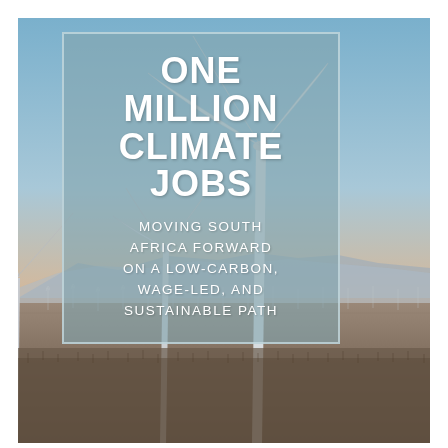[Figure (photo): Wind farm at dusk/sunset with multiple wind turbines against a gradient sky of blue and warm peach/orange tones, with arid landscape and mountains in background.]
ONE MILLION CLIMATE JOBS
MOVING SOUTH AFRICA FORWARD ON A LOW-CARBON, WAGE-LED, AND SUSTAINABLE PATH